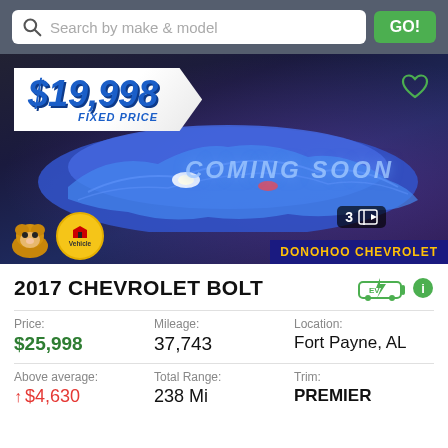Search by make & model  GO!
[Figure (photo): Car covered with blue cloth showing 'COMING SOON' text with $19,998 FIXED PRICE tag overlay, heart icon, and dealer badge showing '3' photos. Bottom shows hamster mascot, Vehicle badge, and DONOHOO CHEVROLET dealer name.]
2017 CHEVROLET BOLT
Price: $25,998  Mileage: 37,743  Location: Fort Payne, AL
Above average: ↑ $4,630  Total Range: 238 Mi  Trim: PREMIER